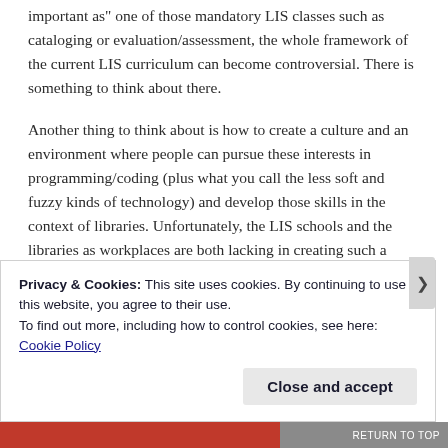important as" one of those mandatory LIS classes such as cataloging or evaluation/assessment, the whole framework of the current LIS curriculum can become controversial. There is something to think about there.
Another thing to think about is how to create a culture and an environment where people can pursue these interests in programming/coding (plus what you call the less soft and fuzzy kinds of technology) and develop those skills in the context of libraries. Unfortunately, the LIS schools and the libraries as workplaces are both lacking in creating such a culture/environment. It is particularly sad to see how libraries are so failing to take advantage of the library staff who ‘want to’
Privacy & Cookies: This site uses cookies. By continuing to use this website, you agree to their use.
To find out more, including how to control cookies, see here:
Cookie Policy
Close and accept